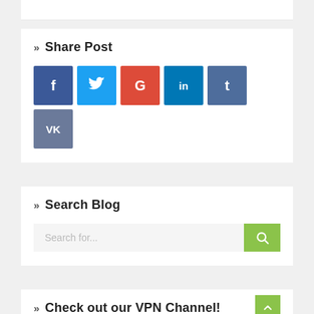» Share Post
[Figure (infographic): Social share buttons: Facebook (f), Twitter (bird), Google+ (G), LinkedIn (in), Tumblr (t), VK (VK)]
» Search Blog
[Figure (screenshot): Search input field with placeholder 'Search for...' and green search button with magnifying glass icon]
» Check out our VPN Channel!